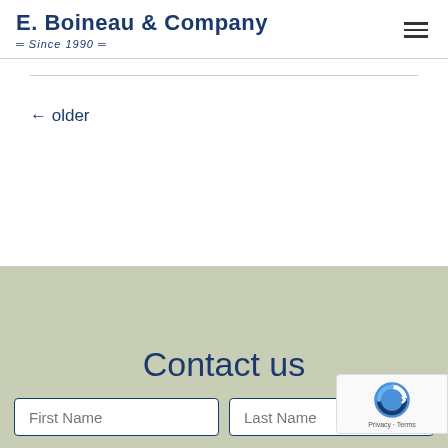E. Boineau & Company — Since 1990 —
← older
Contact us
First Name  Last Name